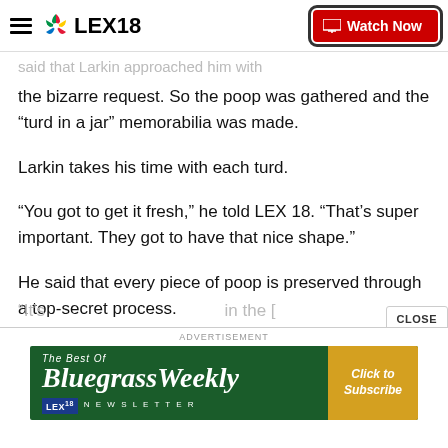LEX18 | Watch Now
[partially visible cropped text: ...said that Larkin approached him with the bizarre request. So the poop was gathered and the...]
the bizarre request. So the poop was gathered and the “turd in a jar” memorabilia was made.
Larkin takes his time with each turd.
“You got to get it fresh,” he told LEX 18. “That’s super important. They got to have that nice shape.”
He said that every piece of poop is preserved through a top-secret process.
“It’s ... in the [obscured behind ad]
[Figure (screenshot): Advertisement banner for Bluegrass Weekly Newsletter by LEX18 with Click to Subscribe button]